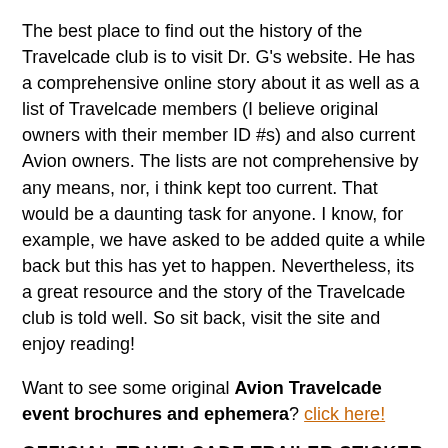The best place to find out the history of the Travelcade club is to visit Dr. G's website. He has a comprehensive online story about it as well as a list of Travelcade members (I believe original owners with their member ID #s) and also current Avion owners. The lists are not comprehensive by any means, nor, i think kept too current. That would be a daunting task for anyone. I know, for example, we have asked to be added quite a while back but this has yet to happen. Nevertheless, its a great resource and the story of the Travelcade club is told well. So sit back, visit the site and enjoy reading!
Want to see some original Avion Travelcade event brochures and ephemera? click here!
OFFICIAL TRAVELCADE TRAILER STICKER EMBLEMS
If your Avion does not have any Travelcade stickers, or